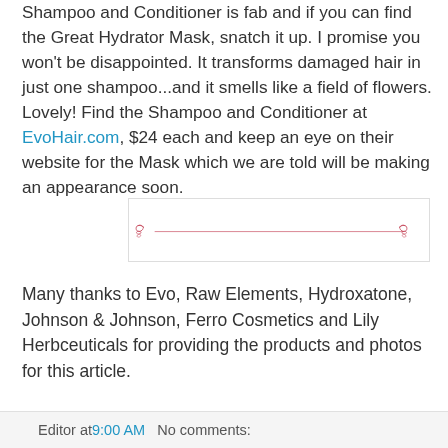Shampoo and Conditioner is fab and if you can find the Great Hydrator Mask, snatch it up. I promise you won't be disappointed. It transforms damaged hair in just one shampoo...and it smells like a field of flowers. Lovely! Find the Shampoo and Conditioner at EvoHair.com, $24 each and keep an eye on their website for the Mask which we are told will be making an appearance soon.
[Figure (illustration): Decorative horizontal divider with ornamental scroll designs on each end and a thin red/pink line in between.]
Many thanks to Evo, Raw Elements, Hydroxatone, Johnson & Johnson, Ferro Cosmetics and Lily Herbceuticals for providing the products and photos for this article.
Editor at 9:00 AM   No comments: